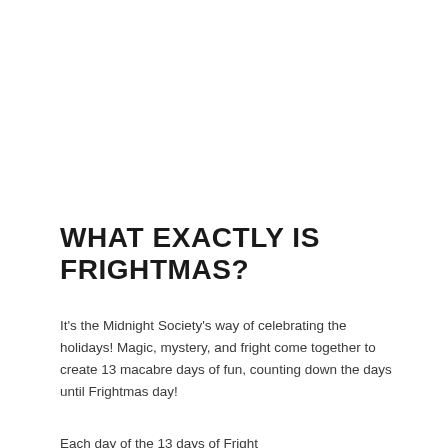WHAT EXACTLY IS FRIGHTMAS?
It's the Midnight Society's way of celebrating the holidays! Magic, mystery, and fright come together to create 13 macabre days of fun, counting down the days until Frightmas day!
Each day of the 13 days of Fright...